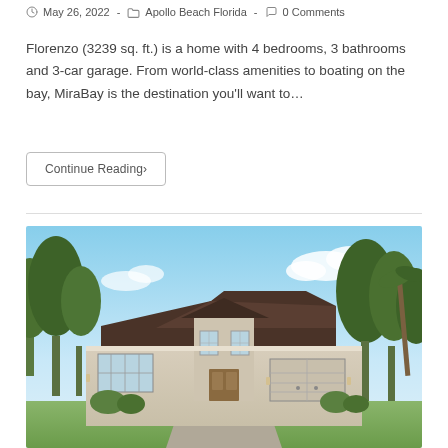May 26, 2022 · Apollo Beach Florida · 0 Comments
Florenzo (3239 sq. ft.) is a home with 4 bedrooms, 3 bathrooms and 3-car garage. From world-class amenities to boating on the bay, MiraBay is the destination you'll want to…
Continue Reading›
[Figure (photo): Exterior front view of a single-story Florida home with dark brown hip roof, stucco facade, large windows, 2-car garage, and surrounded by lush tropical trees under a blue sky with clouds.]